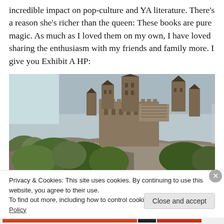incredible impact on pop-culture and YA literature. There's a reason she's richer than the queen: These books are pure magic. As much as I loved them on my own, I have loved sharing the enthusiasm with my friends and family more. I give you Exhibit A HP:
[Figure (photo): Photo of Hogwarts castle at the Wizarding World of Harry Potter theme park, showing stone castle with tall pointed towers and turrets, surrounded by green trees and rocky terrain, under an overcast sky.]
Privacy & Cookies: This site uses cookies. By continuing to use this website, you agree to their use.
To find out more, including how to control cookies, see here: Cookie Policy
Close and accept